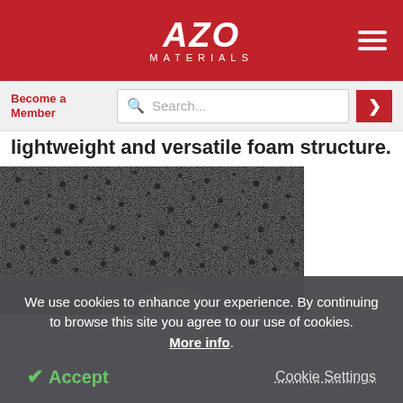AZO MATERIALS
Become a Member
lightweight and versatile foam structure.
[Figure (photo): A close-up photograph of a dark grey foam material with a rough, porous surface texture. A euro coin is placed at the bottom of the foam block for scale.]
We use cookies to enhance your experience. By continuing to browse this site you agree to our use of cookies. More info.
✔ Accept   Cookie Settings